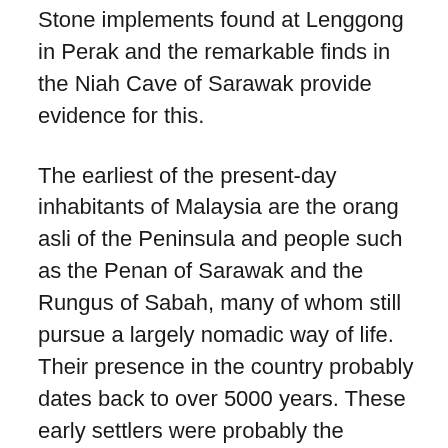Stone implements found at Lenggong in Perak and the remarkable finds in the Niah Cave of Sarawak provide evidence for this.
The earliest of the present-day inhabitants of Malaysia are the orang asli of the Peninsula and people such as the Penan of Sarawak and the Rungus of Sabah, many of whom still pursue a largely nomadic way of life. Their presence in the country probably dates back to over 5000 years. These early settlers were probably the pioneers of the movement of peoples southwards from China and Tibet through Mainland Southeast Asia and the Malay Peninsula to the Indonesian Archipelago and beyond. The next arrivals to the country, the Malays, represented the second and third wave of this